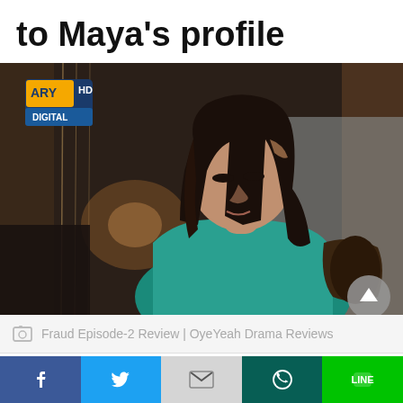to Maya's profile
[Figure (photo): Screenshot from ARY Digital HD showing a woman in a teal top looking downward, appearing to be brushing hair. The scene is from a Pakistani drama. ARY Digital HD logo visible in top-left corner.]
Fraud Episode-2 Review | OyeYeah Drama Reviews
[Figure (infographic): Social media share buttons bar: Facebook (blue), Twitter (light blue), Gmail/Google (gray), WhatsApp (dark teal), LINE (green)]